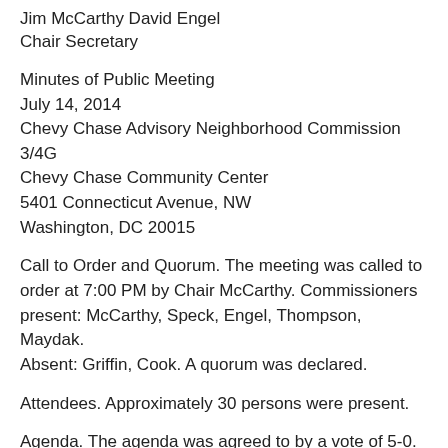Jim McCarthy David Engel
Chair Secretary
Minutes of Public Meeting
July 14, 2014
Chevy Chase Advisory Neighborhood Commission 3/4G
Chevy Chase Community Center
5401 Connecticut Avenue, NW
Washington, DC 20015
Call to Order and Quorum. The meeting was called to order at 7:00 PM by Chair McCarthy. Commissioners present: McCarthy, Speck, Engel, Thompson, Maydak.
Absent: Griffin, Cook. A quorum was declared.
Attendees. Approximately 30 persons were present.
Agenda. The agenda was agreed to by a vote of 5-0.
Announcements. Chair McCarthy reported on his